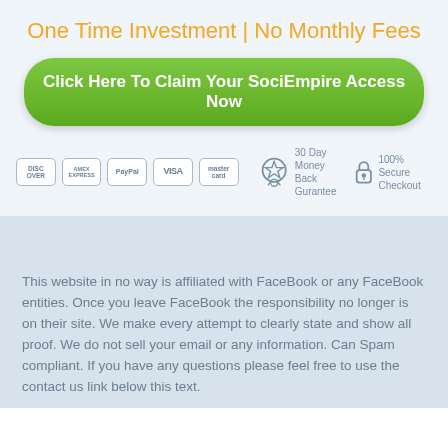One Time Investment | No Monthly Fees
Click Here To Claim Your SociEmpire Access Now
[Figure (infographic): Payment method icons: Discover, American Express, PayPal, Visa, Mastercard cards; 30 Day Money Back Guarantee badge; 100% Secure Checkout lock icon]
This website in no way is affiliated with FaceBook or any FaceBook entities. Once you leave FaceBook the responsibility no longer is on their site. We make every attempt to clearly state and show all proof. We do not sell your email or any information. Can Spam compliant. If you have any questions please feel free to use the contact us link below this text.